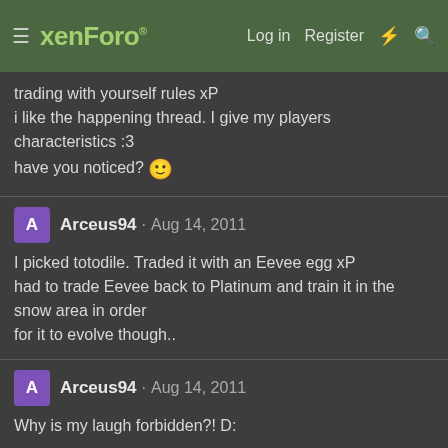xenForo® — Log in  Register
trading with yourself rules xP
i like the happening thread. I give my players characteristics :3
have you noticed? 🙂
Arceus94 · Aug 14, 2011
I picked totodile. Traded it with an Eevee egg xP
had to trade Eevee back to Platinum and train it in the snow area in order
for it to evolve though..
Arceus94 · Aug 14, 2011
Why is my laugh forbidden?! D:
Arceus94 · Aug 14, 2011
Well, I traded it to platinum to teach it some moves n_n
I always do that. Glaceon knows Shadow Ball and Scyther